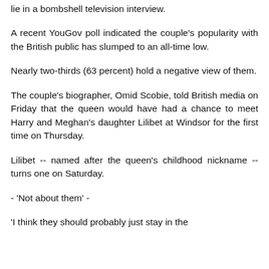lie in a bombshell television interview.
A recent YouGov poll indicated the couple's popularity with the British public has slumped to an all-time low.
Nearly two-thirds (63 percent) hold a negative view of them.
The couple's biographer, Omid Scobie, told British media on Friday that the queen would have had a chance to meet Harry and Meghan's daughter Lilibet at Windsor for the first time on Thursday.
Lilibet -- named after the queen's childhood nickname -- turns one on Saturday.
- 'Not about them' -
'I think they should probably just stay in the